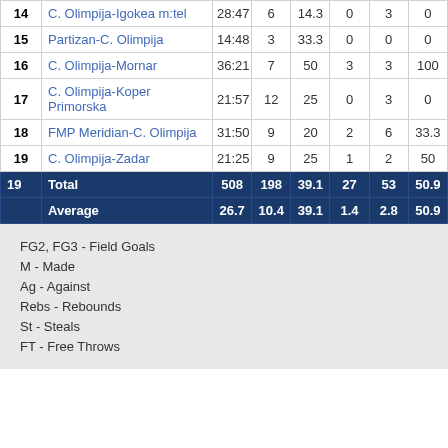| # | Match | Min | FG2 | FG3 | M | Ag | % |
| --- | --- | --- | --- | --- | --- | --- | --- |
| 14 | C. Olimpija-Igokea m:tel | 28:47 | 6 | 14.3 | 0 | 3 | 0 |
| 15 | Partizan-C. Olimpija | 14:48 | 3 | 33.3 | 0 | 0 | 0 |
| 16 | C. Olimpija-Mornar | 36:21 | 7 | 50 | 3 | 3 | 100 |
| 17 | C. Olimpija-Koper Primorska | 21:57 | 12 | 25 | 0 | 3 | 0 |
| 18 | FMP Meridian-C. Olimpija | 31:50 | 9 | 20 | 2 | 6 | 33.3 |
| 19 | C. Olimpija-Zadar | 21:25 | 9 | 25 | 1 | 2 | 50 |
| 19 Total |  | 508 | 198 | 39.1 | 27 | 53 | 50.9 |
| Average |  | 26.7 | 10.4 | 39.1 | 1.4 | 2.8 | 50.9 |
FG2, FG3 - Field Goals
M - Made
Ag - Against
Rebs - Rebounds
St - Steals
FT - Free Throws